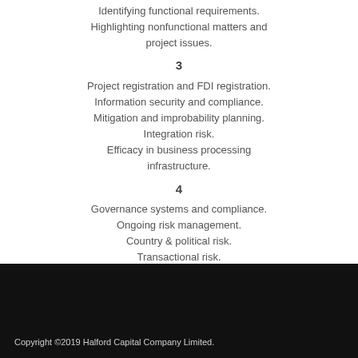Identifying functional requirements.
Highlighting nonfunctional matters and project issues.
3
Project registration and FDI registration.
Information security and compliance.
Mitigation and improbability planning.
Integration risk.
Efficacy in business processing infrastructure.
4
Governance systems and compliance.
Ongoing risk management.
Country & political risk.
Transactional risk.
Copyright ©2019 Halford Capital Company Limited.